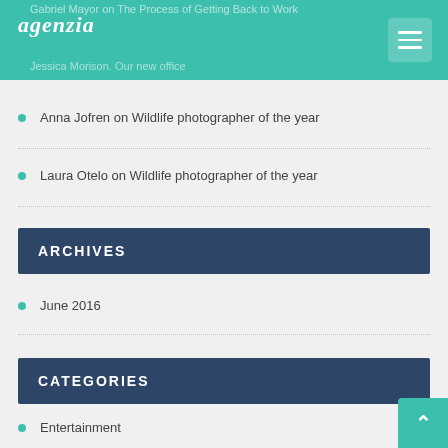agenzia
Gabriel Mayor on The Process of Getting Back to Work
Jessica Morison. Our new office
Anna Jofren on Wildlife photographer of the year
Laura Otelo on Wildlife photographer of the year
ARCHIVES
June 2016
CATEGORIES
Entertainment